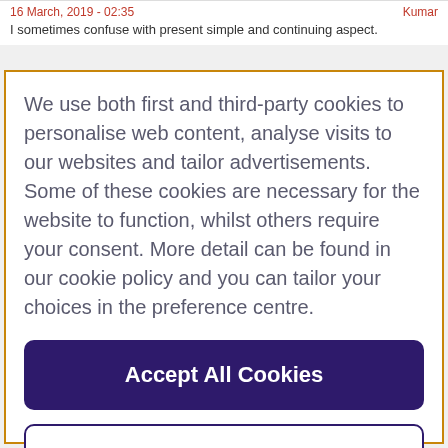16 March, 2019 - 02:35 ... Kumar
I sometimes confuse with present simple and continuing aspect.
We use both first and third-party cookies to personalise web content, analyse visits to our websites and tailor advertisements. Some of these cookies are necessary for the website to function, whilst others require your consent. More detail can be found in our cookie policy and you can tailor your choices in the preference centre.
Accept All Cookies
Cookies Settings